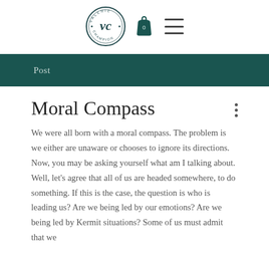[Figure (logo): Valerie Champion circular logo with stylized VC monogram, teal shopping bag icon with 0, and hamburger menu icon]
Post
Moral Compass
We were all born with a moral compass. The problem is we either are unaware or chooses to ignore its directions. Now, you may be asking yourself what am I talking about. Well, let's agree that all of us are headed somewhere, to do something. If this is the case, the question is who is leading us? Are we being led by our emotions? Are we being led by Kermit situations? Some of us must admit that we